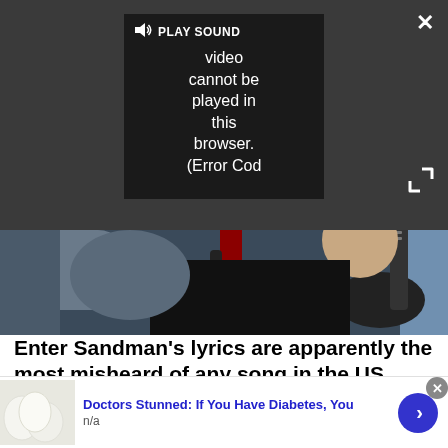[Figure (screenshot): Video player overlay on dark background showing 'PLAY SOUND' button and error message: 'Video cannot be played in this browser. (Error Cod' with close X button and expand arrows]
[Figure (photo): Photo of a musician with tattoos wearing a black t-shirt, holding a guitar near a microphone]
Enter Sandman's lyrics are apparently the most misheard of any song in the US
Enter Sandman's lyrics are extremely misunderstood in the US, with 70% believing they contain the word "eggs"
Louder
Doctors Stunned: If You Have Diabetes, You
n/a